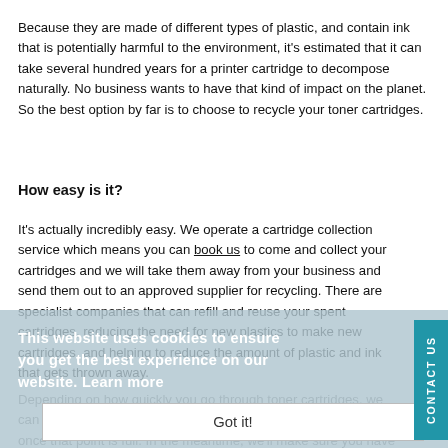Because they are made of different types of plastic, and contain ink that is potentially harmful to the environment, it's estimated that it can take several hundred years for a printer cartridge to decompose naturally. No business wants to have that kind of impact on the planet. So the best option by far is to choose to recycle your toner cartridges.
How easy is it?
It's actually incredibly easy. We operate a cartridge collection service which means you can book us to come and collect your cartridges and we will take them away from your business and send them out to an approved supplier for recycling. There are specialist companies that can refill and reuse your spent cartridges, reducing the need for new plastics to make new cartridges, and helping to reduce the amount of plastic and ink that gets thrown away.
This website uses cookies to ensure you get the best experience on our website. Learn more
Got it!
Depending on how quickly you go through toner cartridges, we can provide a collection point for you, and you can contact us once that point is full. In the meantime, we'll make sure you have plenty of